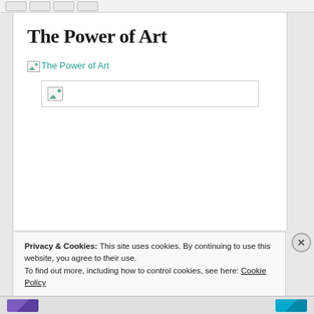[browser toolbar]
The Power of Art
[Figure (other): Broken image link showing 'The Power of Art' as alt text in teal/cyan color with broken image icon]
[Figure (other): Large broken image placeholder box with small broken image icon on the left]
Privacy & Cookies: This site uses cookies. By continuing to use this website, you agree to their use.
To find out more, including how to control cookies, see here: Cookie Policy
Close and accept
[footer strip with logos]